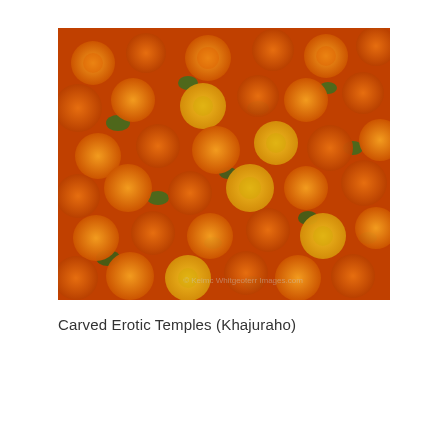[Figure (photo): A dense cluster of orange and yellow marigold flowers with green leaves visible between them, photographed from above. Watermark text visible in lower right area.]
Carved Erotic Temples (Khajuraho)